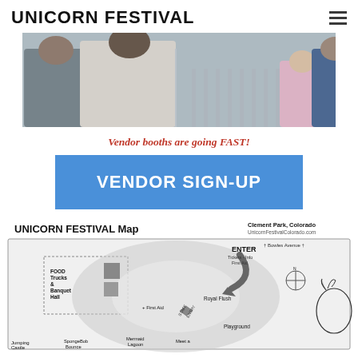UNICORN FESTIVAL
[Figure (photo): People standing at an outdoor festival event, seen from behind, near metal railings. A young girl in pink is visible on the right side.]
Vendor booths are going FAST!
[Figure (other): Blue button with white bold text reading VENDOR SIGN-UP]
[Figure (map): UNICORN FESTIVAL Map showing Clement Park, Colorado with labeled areas: ENTER (Tickets - Info, First Aid), FOOD Trucks & Banquet Hall, First Aid, Royal Flush, Playground, Jumping Castle, SpongeBob Bounce, Mermaid Lagoon, Meet a [unicorn], and a compass rose. UnicornFestivalColorado.com shown top right. Bowles Avenue labeled at top right.]